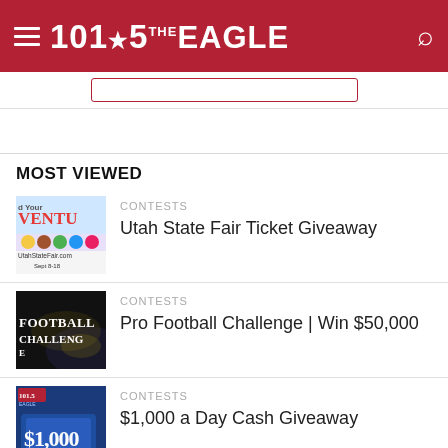101.5 THE EAGLE
MOST VIEWED
CONTESTS
Utah State Fair Ticket Giveaway
CONTESTS
Pro Football Challenge | Win $50,000
CONTESTS
$1,000 a Day Cash Giveaway